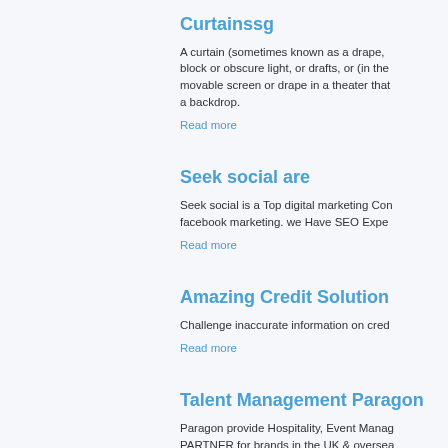Curtainssg
A curtain (sometimes known as a drape, block or obscure light, or drafts, or (in the movable screen or drape in a theater that a backdrop.
Read more
Seek social are
Seek social is a Top digital marketing Con facebook marketing. we Have SEO Expe
Read more
Amazing Credit Solution
Challenge inaccurate information on cred
Read more
Talent Management Paragon
Paragon provide Hospitality, Event Manag PARTNER for brands in the UK & oversea
Read more